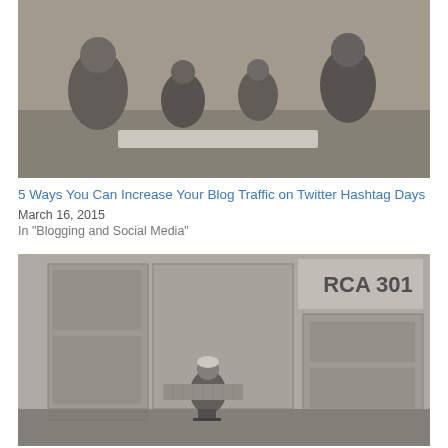[Figure (photo): Black and white vintage photo of children and adults gathered together, appearing to be reading or looking at something on the floor.]
5 Ways You Can Increase Your Blog Traffic on Twitter Hashtag Days
March 16, 2015
In "Blogging and Social Media"
[Figure (photo): Black and white vintage photo of a woman sitting at the keyboard of an RCA 301 computer mainframe.]
Your Questions – and Mine – About Blog Hashtag Days
March 2, 2015
In "Blogging and Social Media"